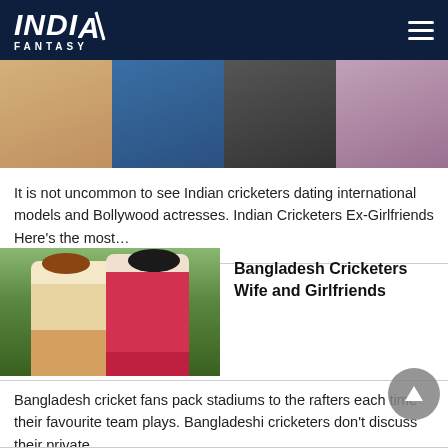INDIA FANTASY
[Figure (photo): Collage of Indian cricketers with models/actresses]
It is not uncommon to see Indian cricketers dating international models and Bollywood actresses. Indian Cricketers Ex-Girlfriends Here's the most…
[Figure (photo): Bangladeshi couple in traditional wedding attire with green background]
Bangladesh Cricketers Wife and Girlfriends
Bangladesh cricket fans pack stadiums to the rafters each time their favourite team plays. Bangladeshi cricketers don't discuss their private…